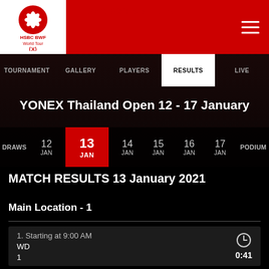[Figure (logo): HSBC BWF World Tour logo - red circular emblem with white design]
HSBC BWF World Tour
TOURNAMENT   GALLERY   PLAYERS   RESULTS   LIVE
YONEX Thailand Open 12 - 17 January
DRAWS  12 JAN  13 JAN  14 JAN  15 JAN  16 JAN  17 JAN  PODIUM
MATCH RESULTS 13 January 2021
Main Location - 1
1. Starting at 9:00 AM
WD
1
0:41